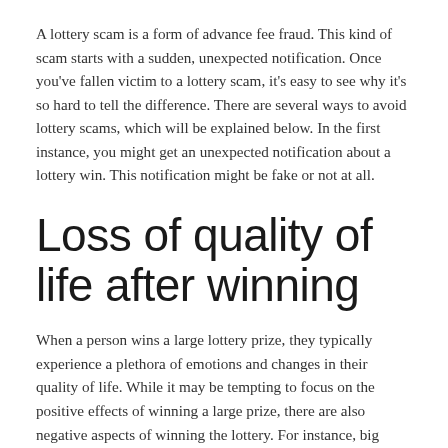A lottery scam is a form of advance fee fraud. This kind of scam starts with a sudden, unexpected notification. Once you've fallen victim to a lottery scam, it's easy to see why it's so hard to tell the difference. There are several ways to avoid lottery scams, which will be explained below. In the first instance, you might get an unexpected notification about a lottery win. This notification might be fake or not at all.
Loss of quality of life after winning
When a person wins a large lottery prize, they typically experience a plethora of emotions and changes in their quality of life. While it may be tempting to focus on the positive effects of winning a large prize, there are also negative aspects of winning the lottery. For instance, big